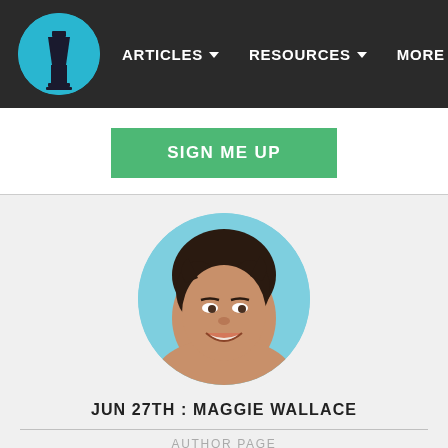ARTICLES ▼   RESOURCES ▼   MORE ▼
SIGN ME UP
[Figure (photo): Circular profile photo of Maggie Wallace, a woman with dark hair pulled back, smiling, against a light blue background.]
JUN 27TH : MAGGIE WALLACE
AUTHOR PAGE
[Figure (photo): Advertisement banner: Firestone Tire Offer - Virginia Tire & Auto of Ashburn, with Firestone tire & auto logo and blue diamond navigation arrow icon.]